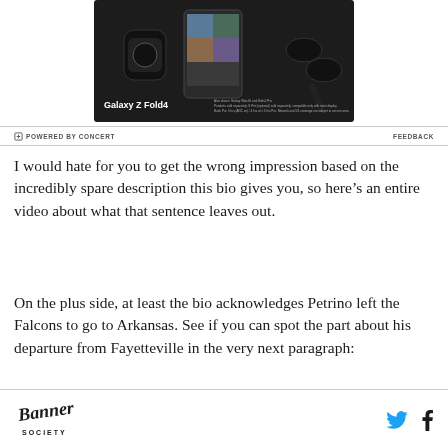[Figure (photo): Samsung Galaxy Z Fold4 advertisement showing the foldable phone with a video call on screen, a Samsung Galaxy Watch, Galaxy Buds, and a stylus on a dark background. Text reads 'Galaxy Z Fold4' with fine print about products sold separately.]
⊡ POWERED BY CONCERT    FEEDBACK
I would hate for you to get the wrong impression based on the incredibly spare description this bio gives you, so here's an entire video about what that sentence leaves out.
On the plus side, at least the bio acknowledges Petrino left the Falcons to go to Arkansas. See if you can spot the part about his departure from Fayetteville in the very next paragraph:
[Figure (logo): Banner Society logo in cursive/script style]
Banner Society logo | Twitter icon | Facebook icon